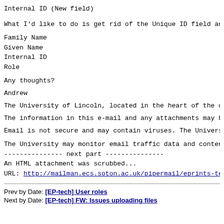Internal ID (New field)
What I'd like to do is get rid of the Unique ID field anc
Family Name
Given Name
Internal ID
Role
Any thoughts?
Andrew
The University of Lincoln, located in the heart of the ci
The information in this e-mail and any attachments may be
Email is not secure and may contain viruses. The Universi
The University may monitor email traffic data and content
--------------- next part ---------------
An HTML attachment was scrubbed...
URL: http://mailman.ecs.soton.ac.uk/pipermail/eprints-tec
Prev by Date: [EP-tech] User roles
Next by Date: [EP-tech] FW: Issues uploading files